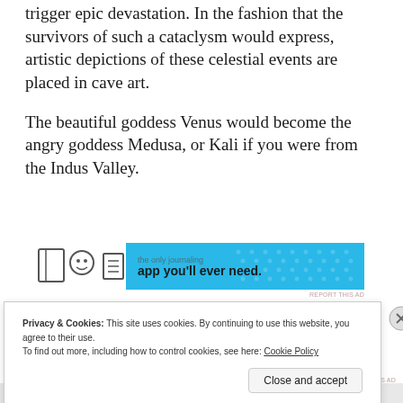trigger epic devastation. In the fashion that the survivors of such a cataclysm would express, artistic depictions of these celestial events are placed in cave art.
The beautiful goddess Venus would become the angry goddess Medusa, or Kali if you were from the Indus Valley.
[Figure (screenshot): Horizontal banner advertisement with blue background showing icons (book, face, document) and text 'app you'll ever need.' with decorative dots pattern.]
Privacy & Cookies: This site uses cookies. By continuing to use this website, you agree to their use.
To find out more, including how to control cookies, see here: Cookie Policy
Close and accept